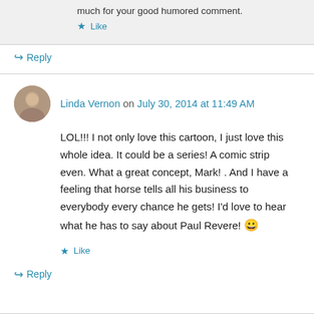much for your good humored comment.
★ Like
↪ Reply
Linda Vernon on July 30, 2014 at 11:49 AM
LOL!!! I not only love this cartoon, I just love this whole idea. It could be a series! A comic strip even. What a great concept, Mark! . And I have a feeling that horse tells all his business to everybody every chance he gets! I'd love to hear what he has to say about Paul Revere! 😀
★ Like
↪ Reply